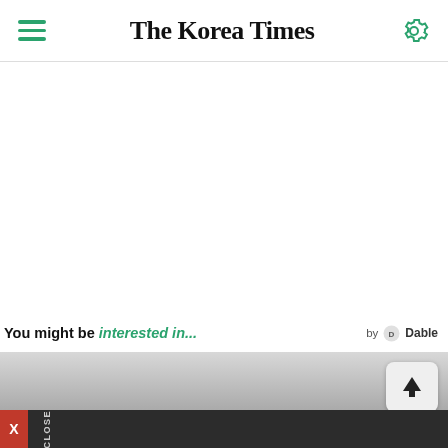The Korea Times
You might be interested in...
[Figure (screenshot): Gray gradient advertisement/content area with scroll-to-top arrow button on right side]
[Figure (other): Dark close bar at bottom with red X button and vertical CLOSE text label]